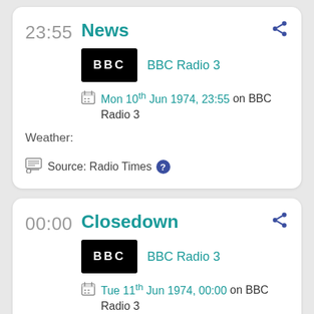23:55
News
BBC Radio 3
Mon 10th Jun 1974, 23:55 on BBC Radio 3
Weather:
Source: Radio Times
00:00
Closedown
BBC Radio 3
Tue 11th Jun 1974, 00:00 on BBC Radio 3